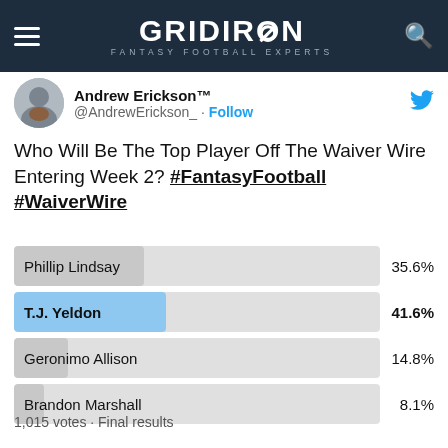GRIDIRON FANTASY FOOTBALL EXPERTS
Andrew Erickson™ @AndrewErickson_ · Follow
Who Will Be The Top Player Off The Waiver Wire Entering Week 2? #FantasyFootball #WaiverWire
[Figure (bar-chart): Twitter Poll — Who Will Be The Top Player Off The Waiver Wire Entering Week 2?]
1,015 votes · Final results
11:54 PM · Sep 10, 2018
[Figure (photo): Macy's advertisement: KISS BORING LIPS GOODBYE with SHOP NOW button and Macy's star logo]